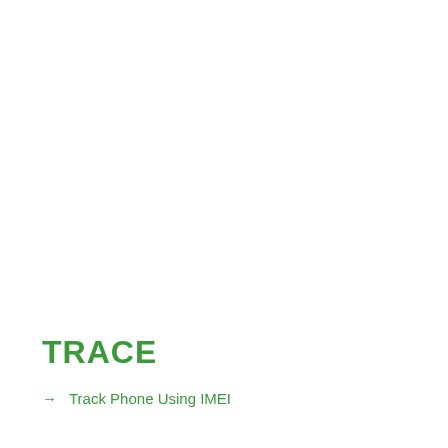TRACE
→ Track Phone Using IMEI